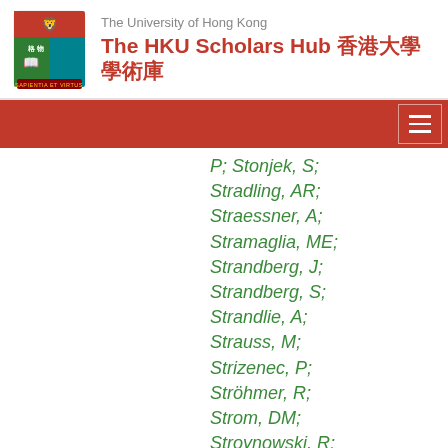The University of Hong Kong — The HKU Scholars Hub 香港大學學術庫
P; Stonjek, S; Stradling, AR; Straessner, A; Stramaglia, ME; Strandberg, J; Strandberg, S; Strandlie, A; Strauss, M; Strizenec, P; Ströhmer, R; Strom, DM; Stroynowski, R; Strubig, A; Stucci, SA; Stugu, B; Styles, NA; Su, D; Su, J; Suchek, S; Sugaya, Y; Suk, M; Sulin, VM;